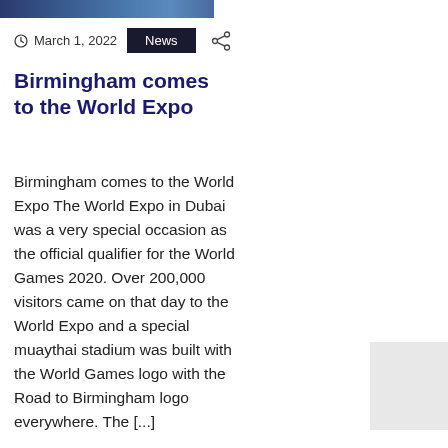[Figure (photo): Top banner image showing a dark blue scene, likely a sporting or event venue]
March 1, 2022  News
Birmingham comes to the World Expo
Birmingham comes to the World Expo The World Expo in Dubai was a very special occasion as the official qualifier for the World Games 2020. Over 200,000 visitors came on that day to the World Expo and a special muaythai stadium was built with the World Games logo with the Road to Birmingham logo everywhere. The [...]